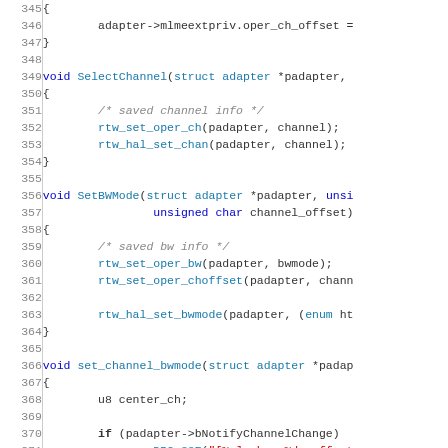[Figure (screenshot): Source code listing showing C code with line numbers 345-375, including functions SelectChannel, SetBWMode, and set_channel_bwmode with syntax highlighting (keywords in blue, strings in red, comments in grey italic)]